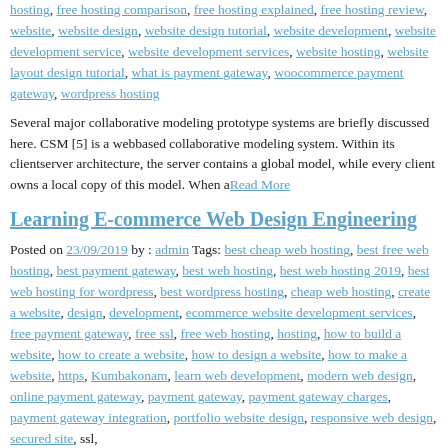hosting, free hosting comparison, free hosting explained, free hosting review, website, website design, website design tutorial, website development, website development service, website development services, website hosting, website layout design tutorial, what is payment gateway, woocommerce payment gateway, wordpress hosting
Several major collaborative modeling prototype systems are briefly discussed here. CSM [5] is a webbased collaborative modeling system. Within its clientserver architecture, the server contains a global model, while every client owns a local copy of this model. When a Read More
Learning E-commerce Web Design Engineering
Posted on 23/09/2019 by : admin Tags: best cheap web hosting, best free web hosting, best payment gateway, best web hosting, best web hosting 2019, best web hosting for wordpress, best wordpress hosting, cheap web hosting, create a website, design, development, ecommerce website development services, free payment gateway, free ssl, free web hosting, hosting, how to build a website, how to create a website, how to design a website, how to make a website, https, Kumbakonam, learn web development, modern web design, online payment gateway, payment gateway, payment gateway charges, payment gateway integration, portfolio website design, responsive web design, secured site, ssl, ssl...